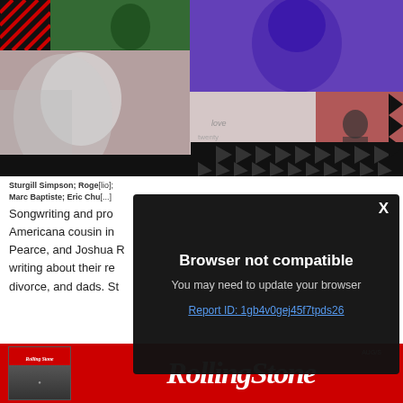[Figure (photo): Rolling Stone magazine article hero image showing a collage of musicians on a red background: a woman in green field (top center), a woman on purple background (top right), a woman with blonde hair (center left), graffiti wall (center), a man in red jacket on a road (right), with black triangle arrow decorations on right and bottom]
Sturgill Simpson; Roge[lio]; Marc Baptiste; Eric Chu[...]
Songwriting and pro[...] Americana cousin in[...] Pearce, and Joshua R[...] writing about their re[...] divorce, and dads. St[...]
[Figure (screenshot): Browser not compatible modal dialog overlay with dark background. Title: Browser not compatible. Subtitle: You may need to update your browser. Link: Report ID: 1gb4v0gej45f7tpds26. X close button top right.]
[Figure (logo): Rolling Stone magazine advertisement banner. Red background with Rolling Stone logo in white italic serif font, small magazine cover image on left.]